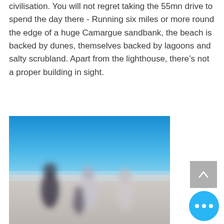civilisation. You will not regret taking the 55mn drive to spend the day there - Running six miles or more round the edge of a huge Camargue sandbank, the beach is backed by dunes, themselves backed by lagoons and salty scrubland. Apart from the lighthouse, there's not a proper building in sight.
[Figure (photo): A blurred photo of a group of people standing on a wide sandy beach under a bright blue sky. A scroll-to-top button and a more-options button are overlaid on the bottom-right corner of the image.]